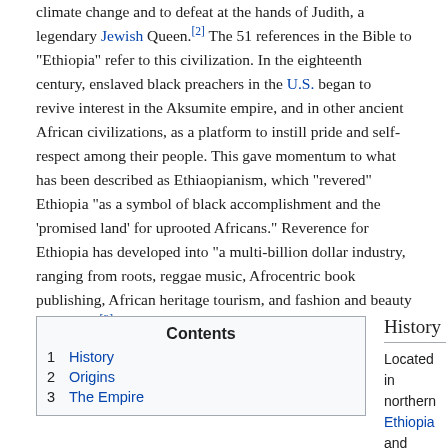climate change and to defeat at the hands of Judith, a legendary Jewish Queen.[2] The 51 references in the Bible to "Ethiopia" refer to this civilization. In the eighteenth century, enslaved black preachers in the U.S. began to revive interest in the Aksumite empire, and in other ancient African civilizations, as a platform to instill pride and self-respect among their people. This gave momentum to what has been described as Ethiaopianism, which "revered" Ethiopia "as a symbol of black accomplishment and the 'promised land' for uprooted Africans." Reverence for Ethiopia has developed into "a multi-billion dollar industry, ranging from roots, reggae music, Afrocentric book publishing, African heritage tourism, and fashion and beauty products."[3]
| Contents |
| --- |
| 1  History |
| 2  Origins |
| 3  The Empire |
History
Located in northern Ethiopia and